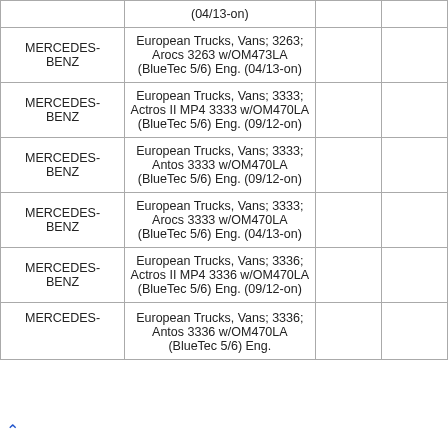| Make | Description |  |  |
| --- | --- | --- | --- |
|  | (04/13-on) |  |  |
| MERCEDES-BENZ | European Trucks, Vans; 3263; Arocs 3263 w/OM473LA (BlueTec 5/6) Eng. (04/13-on) |  |  |
| MERCEDES-BENZ | European Trucks, Vans; 3333; Actros II MP4 3333 w/OM470LA (BlueTec 5/6) Eng. (09/12-on) |  |  |
| MERCEDES-BENZ | European Trucks, Vans; 3333; Antos 3333 w/OM470LA (BlueTec 5/6) Eng. (09/12-on) |  |  |
| MERCEDES-BENZ | European Trucks, Vans; 3333; Arocs 3333 w/OM470LA (BlueTec 5/6) Eng. (04/13-on) |  |  |
| MERCEDES-BENZ | European Trucks, Vans; 3336; Actros II MP4 3336 w/OM470LA (BlueTec 5/6) Eng. (09/12-on) |  |  |
| MERCEDES- | European Trucks, Vans; 3336; Antos 3336 w/OM470LA (BlueTec 5/6) Eng. |  |  |